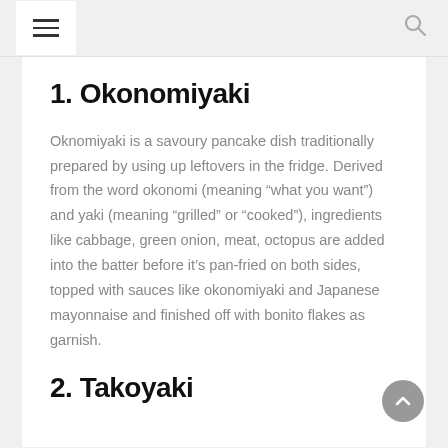1. Okonomiyaki
Oknomiyaki is a savoury pancake dish traditionally prepared by using up leftovers in the fridge. Derived from the word okonomi (meaning “what you want”) and yaki (meaning “grilled” or “cooked”), ingredients like cabbage, green onion, meat, octopus are added into the batter before it’s pan-fried on both sides, topped with sauces like okonomiyaki and Japanese mayonnaise and finished off with bonito flakes as garnish.
2. Takoyaki